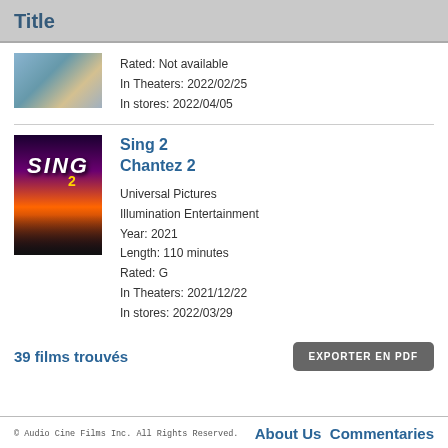Title
[Figure (photo): Movie poster thumbnail - partially visible, appears to be an outdoor/animal scene]
Rated: Not available
In Theaters: 2022/02/25
In stores: 2022/04/05
[Figure (photo): Sing 2 movie poster - purple and orange stage lighting with animated characters]
Sing 2
Chantez 2

Universal Pictures
Illumination Entertainment
Year: 2021
Length: 110 minutes
Rated: G
In Theaters: 2021/12/22
In stores: 2022/03/29
39 films trouvés
EXPORTER EN PDF
© Audio Cine Films Inc. All Rights Reserved.
About Us   Commentaries